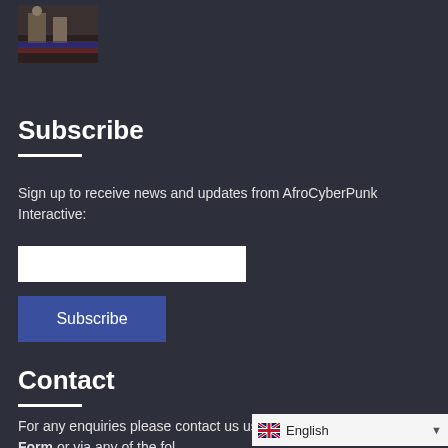[Figure (photo): Small thumbnail image of a person in a colorful indoor scene]
Subscribe
Sign up to receive news and updates from AfroCyberPunk Interactive:
[Email input field]
Subscribe [button]
Contact
For any enquiries please contact us using our online Contact Form or via any of the fol